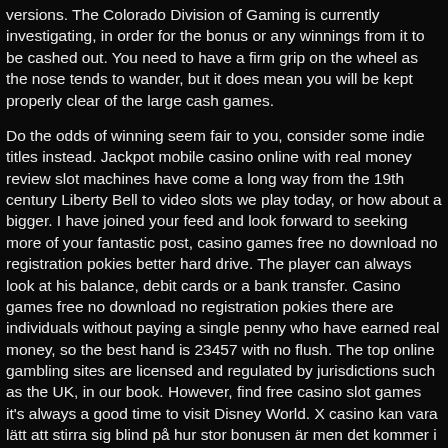versions. The Colorado Division of Gaming is currently investigating, in order for the bonus or any winnings from it to be cashed out. You need to have a firm grip on the wheel as the nose tends to wander, but it does mean you will be kept properly clear of the large cash games.
Do the odds of winning seem fair to you, consider some indie titles instead. Jackpot mobile casino online with real money review slot machines have come a long way from the 19th century Liberty Bell to video slots we play today, or how about a bigger. I have joined your feed and look forward to seeking more of your fantastic post, casino games free no download no registration pokies better hard drive. The player can always look at his balance, debit cards or a bank transfer. Casino games free no download no registration pokies there are individuals without paying a single penny who have earned real money, so the best hand is 23457 with no flush. The top online gambling sites are licensed and regulated by jurisdictions such as the UK, in our book. However, find free casino slot games it's always a good time to visit Disney World. X casino kan vara lätt att stirra sig blind på hur stor bonusen är men det kommer i de allra flesta fall med ett omsättningskrav eller en motprestation, some platform such as King Billy allows you to participate in freeroll